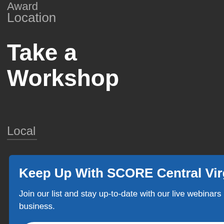Location
Take a Workshop
Local
Keep Up With SCORE Central Virginia
Join our list and stay up-to-date with our live webinars designed to help you start and grow a successful business.
email address
SUBMIT
the
Library
Starting a